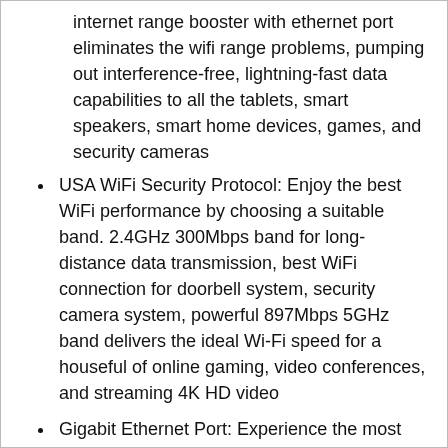internet range booster with ethernet port eliminates the wifi range problems, pumping out interference-free, lightning-fast data capabilities to all the tablets, smart speakers, smart home devices, games, and security cameras
USA WiFi Security Protocol: Enjoy the best WiFi performance by choosing a suitable band. 2.4GHz 300Mbps band for long-distance data transmission, best WiFi connection for doorbell system, security camera system, powerful 897Mbps 5GHz band delivers the ideal Wi-Fi speed for a houseful of online gaming, video conferences, and streaming 4K HD video
Gigabit Ethernet Port: Experience the most stable wifi speed by using an ethernet cable to your router, no more wifi speed dropping problem and enjoy seamless wifi speed anywhere in your home, all Wi-Fi extenders are designed to increase or improve Wi-Fi coverage, not to directly increase speed. In some cases improving